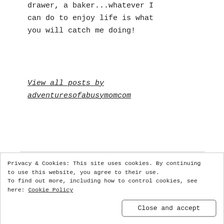drawer, a baker...whatever I can do to enjoy life is what you will catch me doing!
View all posts by adventuresofabusymomcom
Enjoy what you read? Please share this:
Tweet | Share 7 | Save | 104
Like this:
Loading....
Privacy & Cookies: This site uses cookies. By continuing to use this website, you agree to their use. To find out more, including how to control cookies, see here: Cookie Policy
Close and accept